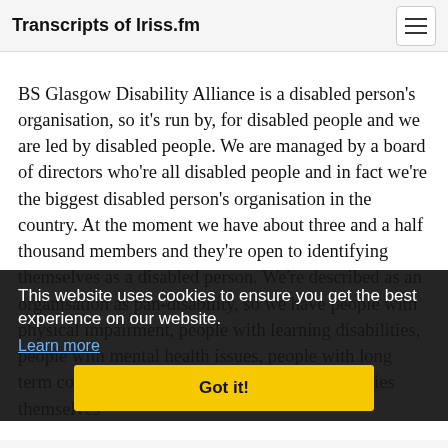Transcripts of Iriss.fm
BS Glasgow Disability Alliance is a disabled person's organisation, so it's run by, for disabled people and we are led by disabled people. We are managed by a board of directors who're all disabled people and in fact we're the biggest disabled person's organisation in the country. At the moment we have about three and a half thousand members and they're open to identifying themselves as a disabled person. We're described as an organisation as pan-disability, so we have people with physical impairment, people with learning disabilities, people with mental health issues, people with long term conditions essentially anybody who identifies themselves
This website uses cookies to ensure you get the best experience on our website.
Learn more
Got it!